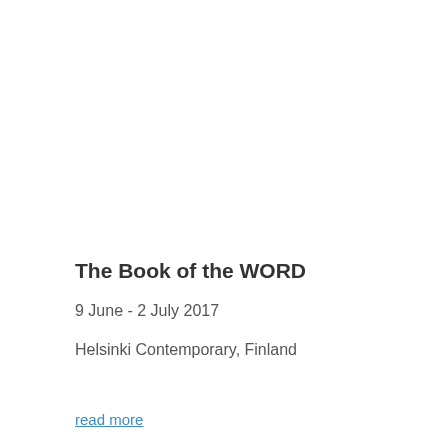The Book of the WORD
9 June - 2 July 2017
Helsinki Contemporary, Finland
read more